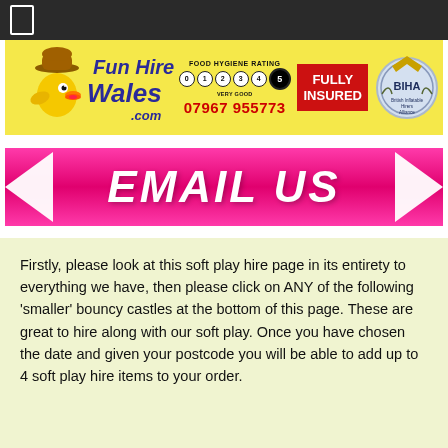[Figure (logo): Fun Hire Wales .com logo banner with cartoon duck/bird mascot in cowboy hat, Food Hygiene Rating 5 (Very Good) badge, Fully Insured red box, BIHA badge, and phone number 07967 955773]
[Figure (infographic): Hot pink EMAIL US button banner with white arrows pointing inward from both sides]
Firstly, please look at this soft play hire page in its entirety to everything we have, then please click on ANY of the following 'smaller' bouncy castles at the bottom of this page. These are great to hire along with our soft play. Once you have chosen the date and given your postcode you will be able to add up to 4 soft play hire items to your order.